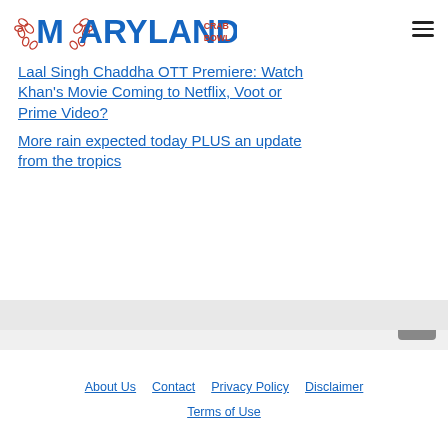Maryland Crab Bowl
Laal Singh Chaddha OTT Premiere: Watch Khan's Movie Coming to Netflix, Voot or Prime Video?
More rain expected today PLUS an update from the tropics
Coinbase Stock: Will Generate Multi-Billions in Profits (NASDAQ:COIN)
About Us   Contact   Privacy Policy   Disclaimer   Terms of Use